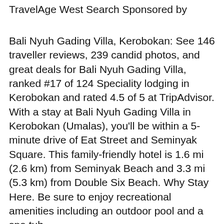TravelAge West Search Sponsored by
Bali Nyuh Gading Villa, Kerobokan: See 146 traveller reviews, 239 candid photos, and great deals for Bali Nyuh Gading Villa, ranked #17 of 124 Speciality lodging in Kerobokan and rated 4.5 of 5 at TripAdvisor. With a stay at Bali Nyuh Gading Villa in Kerobokan (Umalas), you'll be within a 5-minute drive of Eat Street and Seminyak Square. This family-friendly hotel is 1.6 mi (2.6 km) from Seminyak Beach and 3.3 mi (5.3 km) from Double Six Beach. Why Stay Here. Be sure to enjoy recreational amenities including an outdoor pool and a spa tub.